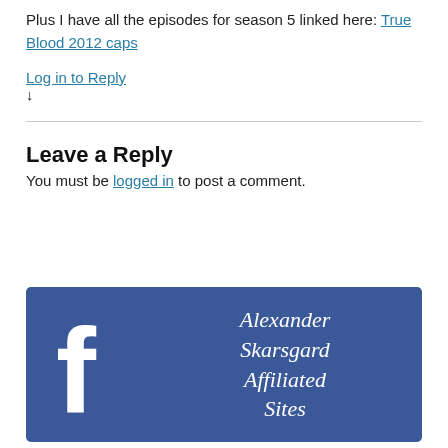Plus I have all the episodes for season 5 linked here: True Blood 2012 caps
Log in to Reply ↓
Leave a Reply
You must be logged in to post a comment.
[Figure (illustration): Facebook banner for Alexander Skarsgard Affiliated Sites with Facebook logo on blue background]